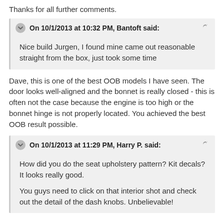Thanks for all further comments.
On 10/1/2013 at 10:32 PM, Bantoft said:
Nice build Jurgen, I found mine came out reasonable straight from the box, just took some time
Dave, this is one of the best OOB models I have seen. The door looks well-aligned and the bonnet is really closed - this is often not the case because the engine is too high or the bonnet hinge is not properly located. You achieved the best OOB result possible.
On 10/1/2013 at 11:29 PM, Harry P. said:
How did you do the seat upholstery pattern? Kit decals? It looks really good.

You guys need to click on that interior shot and check out the detail of the dash knobs. Unbelievable!